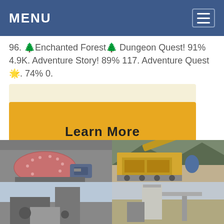MENU
96. 🌲Enchanted Forest🌲 Dungeon Quest! 91% 4.9K. Adventure Story! 89% 117. Adventure Quest🌟. 74% 0.
Learn More
[Figure (photo): Industrial ball mill machinery indoors]
[Figure (photo): Yellow mobile crushing/screening plant outdoors near rocky hillside]
[Figure (photo): Industrial machinery outdoors (partial, bottom-left)]
[Figure (photo): Industrial machinery/silo outdoors (partial, bottom-right)]